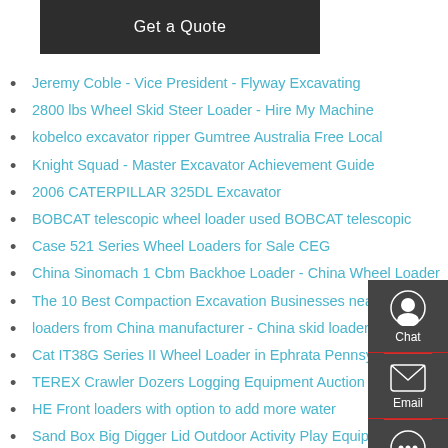[Figure (other): Dark grey 'Get a Quote' button]
Jeremy Coble - Vice President - Flyway Excavating
2800 lbs Wheel Skid Steer Loader - Hire My Machine
kobelco excavator ripper Gumtree Australia Free Local
Knight Squad - Master Excavator Achievement Guide
2006 CATERPILLAR 325DL Excavator
BOBCAT telescopic wheel loader used BOBCAT telescopic
Case 521 Series Wheel Loaders for Sale CEG
China Sinomach 1 Cbm Backhoe Loader - China Wheel Loader
The 10 Best Compaction Excavation Businesses near Western
loaders from China manufacturer - China skid loaders
Cat IT38G Series II Wheel Loader in Ephrata Pennsylvania
TEREX Crawler Dozers Logging Equipment Auction Results
HE Front loaders with option to add more water
Sand Box Big Digger Lid Outdoor Activity Play Equipment
China High Quality LG958 LG958L L958f Wheel Loader for
Caterpillar 980 loaders attachments construction
[Figure (other): Right sidebar with Chat, Email, and Contact icons on dark grey background]